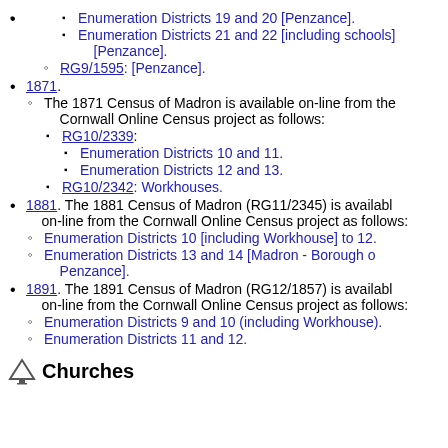Enumeration Districts 19 and 20 [Penzance].
Enumeration Districts 21 and 22 [including schools] [Penzance].
RG9/1595: [Penzance].
1871.
The 1871 Census of Madron is available on-line from the Cornwall Online Census project as follows:
RG10/2339:
Enumeration Districts 10 and 11.
Enumeration Districts 12 and 13.
RG10/2342: Workhouses.
1881. The 1881 Census of Madron (RG11/2345) is available on-line from the Cornwall Online Census project as follows:
Enumeration Districts 10 [including Workhouse] to 12.
Enumeration Districts 13 and 14 [Madron - Borough of Penzance].
1891. The 1891 Census of Madron (RG12/1857) is available on-line from the Cornwall Online Census project as follows:
Enumeration Districts 9 and 10 (including Workhouse).
Enumeration Districts 11 and 12.
Churches